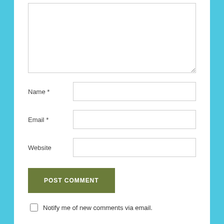[Figure (screenshot): A web comment form section showing a textarea (empty, resizable), followed by labeled input fields for Name, Email, and Website, a POST COMMENT button, and a checkbox to notify of new comments via email. The background outside the form area is cyan/teal.]
Name *
Email *
Website
POST COMMENT
Notify me of new comments via email.